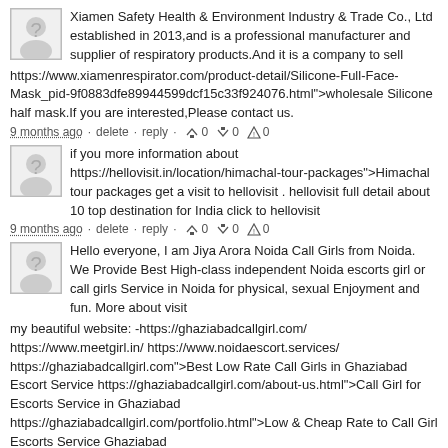Xiamen Safety Health & Environment Industry & Trade Co., Ltd established in 2013,and is a professional manufacturer and supplier of respiratory products.And it is a company to sell https://www.xiamenrespirator.com/product-detail/Silicone-Full-Face-Mask_pid-9f0883dfe89944599dcf15c33f924076.html">wholesale Silicone half mask.If you are interested,Please contact us.
9 months ago · delete · reply · 0 0 0
if you more information about https://hellovisit.in/location/himachal-tour-packages">Himachal tour packages get a visit to hellovisit . hellovisit full detail about 10 top destination for India click to hellovisit
9 months ago · delete · reply · 0 0 0
Hello everyone, I am Jiya Arora Noida Call Girls from Noida. We Provide Best High-class independent Noida escorts girl or call girls Service in Noida for physical, sexual Enjoyment and fun. More about visit my beautiful website: -https://ghaziabadcallgirl.com/ https://www.meetgirl.in/ https://www.noidaescort.services/ https://ghaziabadcallgirl.com">Best Low Rate Call Girls in Ghaziabad Escort Service https://ghaziabadcallgirl.com/about-us.html">Call Girl for Escorts Service in Ghaziabad https://ghaziabadcallgirl.com/portfolio.html">Low & Cheap Rate to Call Girl Escorts Service Ghaziabad https://ghaziabadcallgirl.com/pricing.html">Call Girl Contact Number Ghaziabad Escort Service https://ghaziabadcallgirl.com/contact.html">Low Rate Call Girl in Ghaziabad https://ghaziabadcallgirl.com/noida-escort-servive-call-girls.html">Call Girl for Escorts Service in Noida & Greater Noida https://ghaziabadcallgirl.com/